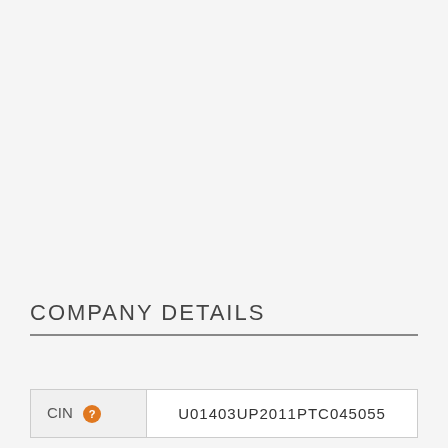COMPANY DETAILS
| CIN |  |
| --- | --- |
| CIN | U01403UP2011PTC045055 |